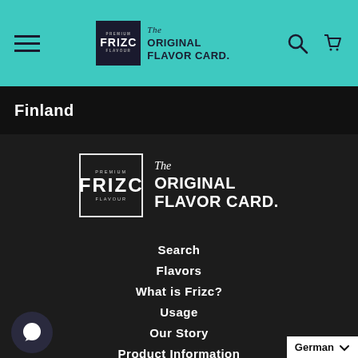[Figure (logo): Frizc Premium Flavor Card header logo on teal background with hamburger menu, search icon, and cart icon]
Finland
[Figure (logo): Large Frizc Premium Flavor Card logo on dark background]
Search
Flavors
What is Frizc?
Usage
Our Story
Product Information
German